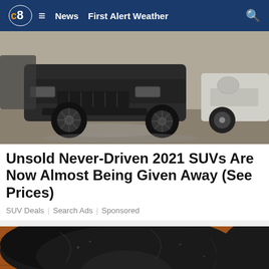CBS8 ≡ News  First Alert Weather  🔍
[Figure (photo): Black SUV (appears to be an Audi Q7) parked in a lot, front view, with another white car partially visible on the right side]
Unsold Never-Driven 2021 SUVs Are Now Almost Being Given Away (See Prices)
SUV Deals | Search Ads | Sponsored
[Figure (photo): Close-up of a black dog's face/snout eating or chewing something, resting on a wooden floor]